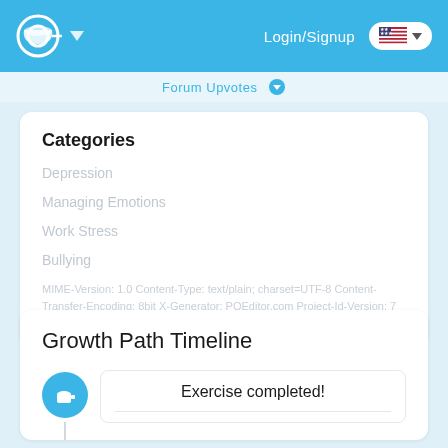Login/Signup
Forum Upvotes
Categories
Depression
Managing Emotions
Work Stress
Bullying
MIME-Version: 1.0 Content-Type: text/plain; charset=UTF-8 Content-Transfer-Encoding: 8bit X-Generator: POEditor.com Project-Id-Version: 7 Cups Language: en-us Plural-Forms: nplurals=2; plural=(n !=
Growth Path Timeline
Exercise completed!